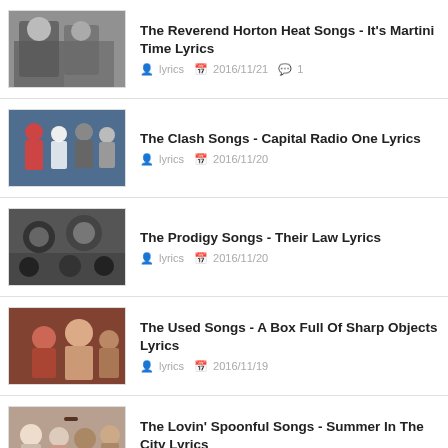The Reverend Horton Heat Songs - It's Martini Time Lyrics | lyrics | 2016/11/21 | 1
The Clash Songs - Capital Radio One Lyrics | lyrics | 2016/11/20
The Prodigy Songs - Their Law Lyrics | lyrics | 2016/11/20
The Used Songs - A Box Full Of Sharp Objects Lyrics | lyrics | 2016/11/19
The Lovin' Spoonful Songs - Summer In The City Lyrics | lyrics | 2016/11/15
Todd Rundgren Songs - Marlene Lyrics | lyrics | 2016/11/15